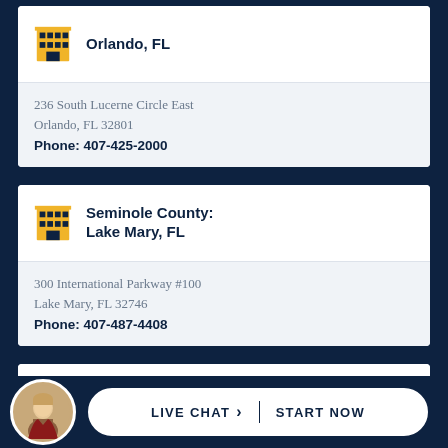Orlando, FL
236 South Lucerne Circle East
Orlando, FL 32801
Phone: 407-425-2000
Seminole County: Lake Mary, FL
300 International Parkway #100
Lake Mary, FL 32746
Phone: 407-487-4408
Osceola County: Kissimmee, FL
17 S. Orlando Ave.
Kissim... 347...
LIVE CHAT  START NOW